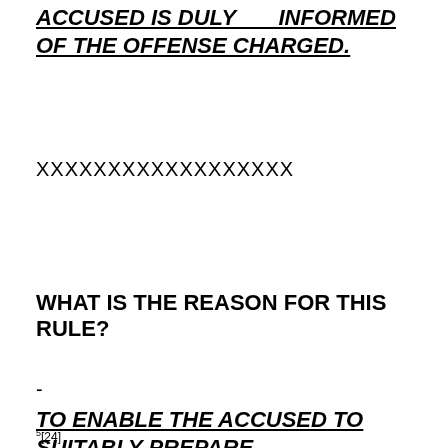ACCUSED IS DULY      INFORMED OF THE OFFENSE CHARGED.
XXXXXXXXXXXXXXXXXX
WHAT IS THE REASON FOR THIS RULE?
-
TO ENABLE THE ACCUSED TO SUITABLY PREPARE
5 [24]